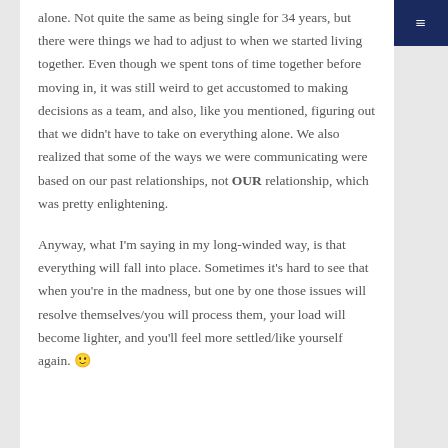alone. Not quite the same as being single for 34 years, but there were things we had to adjust to when we started living together. Even though we spent tons of time together before moving in, it was still weird to get accustomed to making decisions as a team, and also, like you mentioned, figuring out that we didn't have to take on everything alone. We also realized that some of the ways we were communicating were based on our past relationships, not OUR relationship, which was pretty enlightening.
Anyway, what I'm saying in my long-winded way, is that everything will fall into place. Sometimes it's hard to see that when you're in the madness, but one by one those issues will resolve themselves/you will process them, your load will become lighter, and you'll feel more settled/like yourself again. 🙂